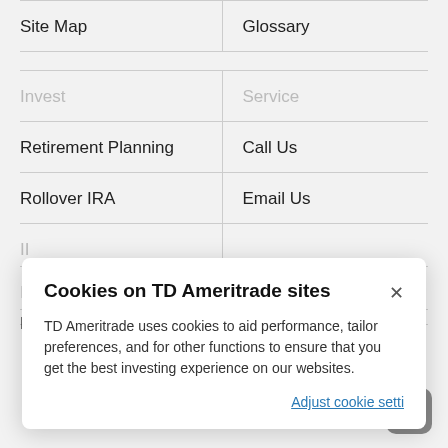Site Map
Glossary
Invest
Service
Retirement Planning
Call Us
Rollover IRA
Email Us
Cookies on TD Ameritrade sites
TD Ameritrade uses cookies to aid performance, tailor preferences, and for other functions to ensure that you get the best investing experience on our websites.
Adjust cookie settings